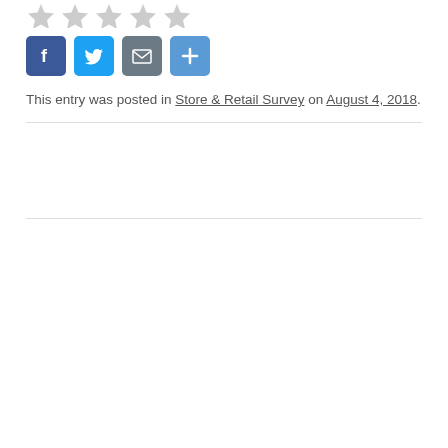[Figure (other): Five gray star rating icons in a row]
[Figure (other): Social sharing buttons: Facebook (blue f), Twitter (blue bird), Email (envelope), More (plus sign)]
This entry was posted in Store & Retail Survey on August 4, 2018.